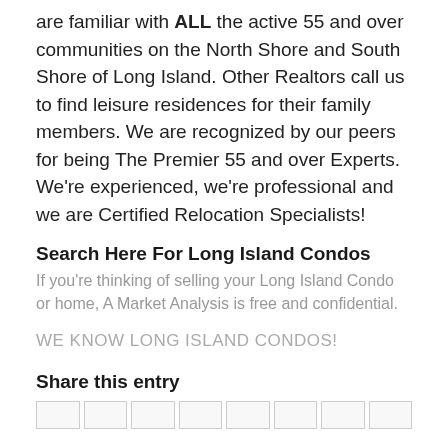are familiar with ALL the active 55 and over communities on the North Shore and South Shore of Long Island.  Other Realtors call us to find leisure residences for their family members.  We are recognized by our peers for being The Premier 55 and over Experts. We're experienced, we're professional and we are Certified Relocation Specialists!
Search Here For Long Island Condos
If you're thinking of selling your Long Island Condo or home, A Market Analysis is free and confidential.
WE KNOW LONG ISLAND CONDOS!
Share this entry